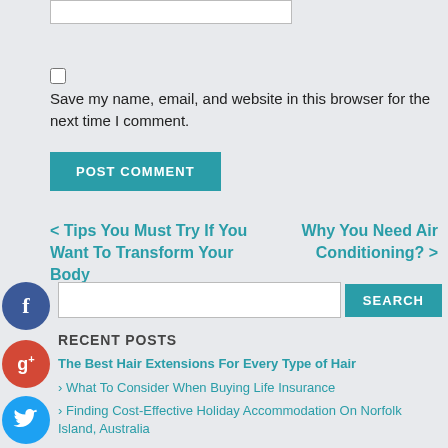Save my name, email, and website in this browser for the next time I comment.
POST COMMENT
< Tips You Must Try If You Want To Transform Your Body
Why You Need Air Conditioning? >
SEARCH
RECENT POSTS
The Best Hair Extensions For Every Type of Hair
› What To Consider When Buying Life Insurance
› Finding Cost-Effective Holiday Accommodation On Norfolk Island, Australia